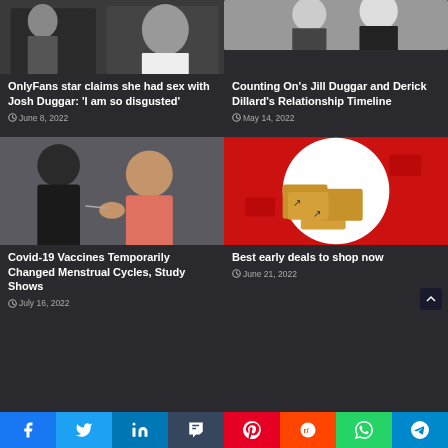[Figure (photo): OnlyFans star and Josh Duggar composite photo - woman in bikini and man's mugshot]
OnlyFans star claims she had sex with Josh Duggar: 'I am so disgusted'
June 8, 2022
[Figure (photo): Jill Duggar and Derick Dillard couple photo]
Counting On's Jill Duggar and Derick Dillard's Relationship Timeline
May 14, 2022
[Figure (photo): Person receiving Covid-19 vaccine injection in arm]
Covid-19 Vaccines Temporarily Changed Menstrual Cycles, Study Shows
July 16, 2022
[Figure (photo): Amazon packages stacked on red background]
Best early deals to shop now
June 21, 2022